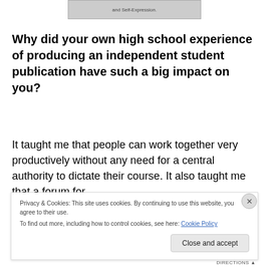[Figure (other): Cropped top portion of an image with text reading 'and Self-Expression']
Why did your own high school experience of producing an independent student publication have such a big impact on you?
It taught me that people can work together very productively without any need for a central authority to dictate their course. It also taught me that a forum for
Privacy & Cookies: This site uses cookies. By continuing to use this website, you agree to their use.
To find out more, including how to control cookies, see here: Cookie Policy
Close and accept